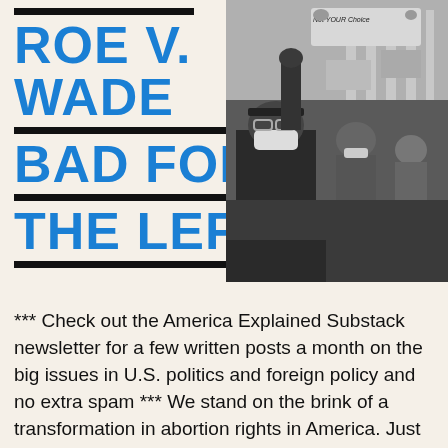ROE V. WADE BAD FOR THE LEFT?
[Figure (photo): Black and white photograph of protesters at a demonstration, with a person in a mask and baseball cap in the foreground, and a sign reading 'Not Your Choice' visible in the background]
*** Check out the America Explained Substack newsletter for a few written posts a month on the big issues in U.S. politics and foreign policy and no extra spam *** We stand on the brink of a transformation in abortion rights in America. Just last week the Supreme Court seemed to indicate its openness to